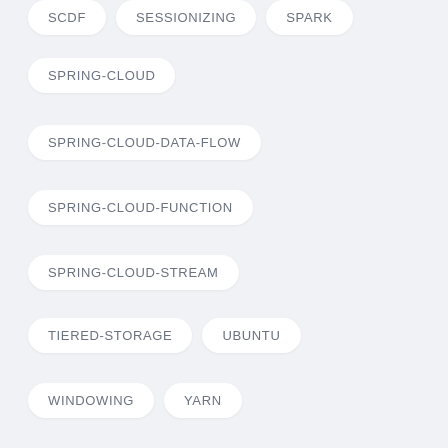SCDF
SESSIONIZING
SPARK
SPRING-CLOUD
SPRING-CLOUD-DATA-FLOW
SPRING-CLOUD-FUNCTION
SPRING-CLOUD-STREAM
TIERED-STORAGE
UBUNTU
WINDOWING
YARN